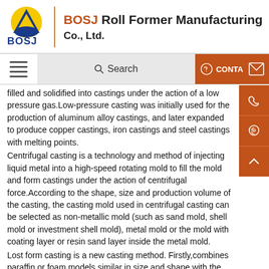[Figure (logo): BOSJ company logo with triangular yellow and blue emblem and BOSJ text in blue below]
BOSJ Roll Former Manufacturing Co., Ltd.
Search | CONTA
filled and solidified into castings under the action of a low pressure gas.Low-pressure casting was initially used for the production of aluminum alloy castings, and later expanded to produce copper castings, iron castings and steel castings with melting points.
Centrifugal casting is a technology and method of injecting liquid metal into a high-speed rotating mold to fill the mold and form castings under the action of centrifugal force.According to the shape, size and production volume of the casting, the casting mold used in centrifugal casting can be selected as non-metallic mold (such as sand mold, shell mold or investment shell mold), metal mold or the mold with coating layer or resin sand layer inside the metal mold.
Lost form casting is a new casting method. Firstly,combines paraffin or foam models similar in size and shape with the casting into model clusters; secondly,brush the clusters with refractory